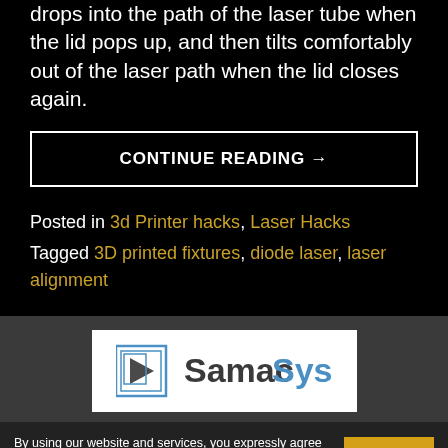drops into the path of the laser tube when the lid pops up, and then tilts comfortably out of the laser path when the lid closes again.
CONTINUE READING →
Posted in 3d Printer hacks, Laser Hacks
Tagged 3D printed fixtures, diode laser, laser alignment
[Figure (logo): SamacSys logo with circuit board icon and blue/dark text]
By using our website and services, you expressly agree to the placement of our performance, functionality and advertising cookies. Learn more